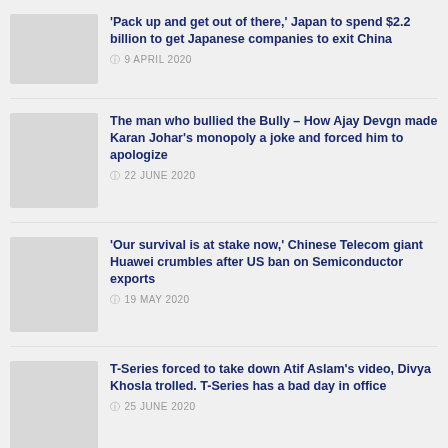'Pack up and get out of there,' Japan to spend $2.2 billion to get Japanese companies to exit China
9 APRIL 2020
The man who bullied the Bully – How Ajay Devgn made Karan Johar's monopoly a joke and forced him to apologize
22 JUNE 2020
'Our survival is at stake now,' Chinese Telecom giant Huawei crumbles after US ban on Semiconductor exports
19 MAY 2020
T-Series forced to take down Atif Aslam's video, Divya Khosla trolled. T-Series has a bad day in office
25 JUNE 2020